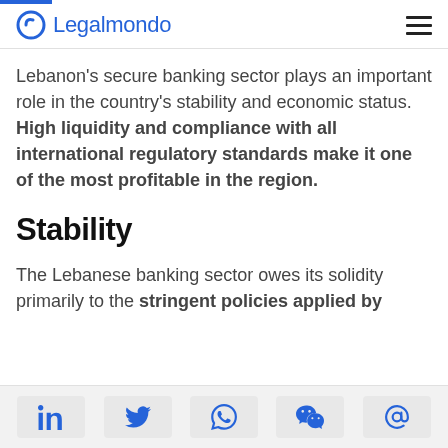Legalmondo
Lebanon’s secure banking sector plays an important role in the country’s stability and economic status. High liquidity and compliance with all international regulatory standards make it one of the most profitable in the region.
Stability
The Lebanese banking sector owes its solidity primarily to the stringent policies applied by
Social sharing icons: LinkedIn, Twitter, WhatsApp, WeChat, Email